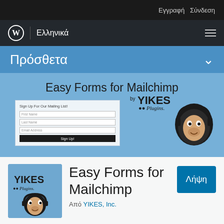Εγγραφή  Σύνδεση
[Figure (screenshot): WordPress logo and site navigation bar with 'Ελληνικά' text and hamburger menu icon]
Πρόσθετα
[Figure (screenshot): Easy Forms for Mailchimp plugin banner with YIKES Plugins branding, a sample sign-up form, and Mailchimp monkey logo on blue background]
[Figure (logo): YIKES Plugins logo with Mailchimp monkey on blue square background]
Easy Forms for Mailchimp
Από YIKES, Inc.
Λήψη